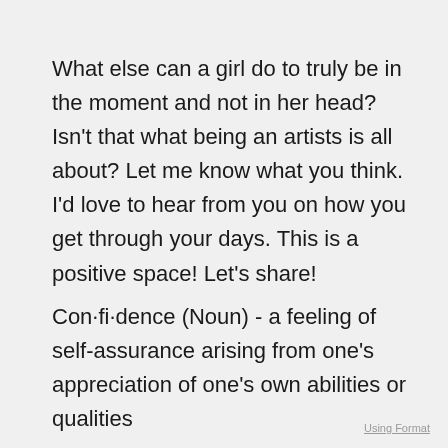What else can a girl do to truly be in the moment and not in her head? Isn't that what being an artists is all about? Let me know what you think. I'd love to hear from you on how you get through your days. This is a positive space! Let's share!
Con·fi·dence (Noun) - a feeling of self-assurance arising from one's appreciation of one's own abilities or qualities
Using Format